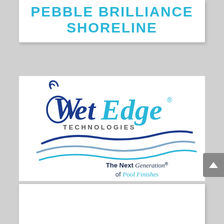PEBBLE BRILLIANCE SHORELINE
[Figure (logo): WetEdge Technologies logo — script 'WetEdge' text in navy/cyan with wave graphic underneath and tagline 'The Next Generation of Pool Finishes']
[Figure (other): Partial white content box at bottom of page, content not visible]